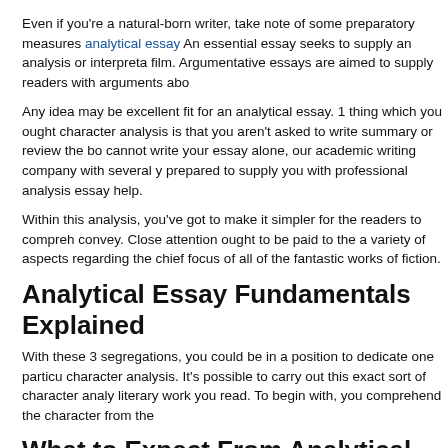Even if you're a natural-born writer, take note of some preparatory measures analytical essay An essential essay seeks to supply an analysis or interpretation film. Argumentative essays are aimed to supply readers with arguments about
Any idea may be excellent fit for an analytical essay. 1 thing which you ought character analysis is that you aren't asked to write summary or review the book cannot write your essay alone, our academic writing company with several y prepared to supply you with professional analysis essay help.
Within this analysis, you've got to make it simpler for the readers to comprehend convey. Close attention ought to be paid to the a variety of aspects regarding the chief focus of all of the fantastic works of fiction.
Analytical Essay Fundamentals Explained
With these 3 segregations, you could be in a position to dedicate one particular character analysis. It's possible to carry out this exact sort of character analysis literary work you read. To begin with, you comprehend the character from the
What to Expect From Analytical Essay?
In order to create the organizing of the structure and make the general process should make an outline. An excellent introduction is one which will help the reader of information on the contents of the essay. If one wants to understand how to introduction, he wants to find some background info because of his text.